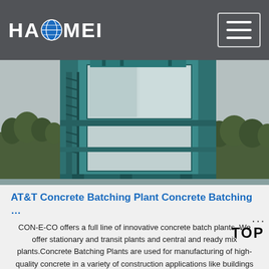HAOMEI [logo with globe]
[Figure (photo): Tall teal/blue industrial concrete batching plant structure with staircases and large rectangular panels, photographed against a grey sky with trees in background]
AT&T Concrete Batching Plant Concrete Batching …
CON-E-CO offers a full line of innovative concrete batch plants. We offer stationary and transit plants and central and ready mix plants.Concrete Batching Plants are used for manufacturing of high-quality concrete in a variety of construction applications like buildings roads and bridges.